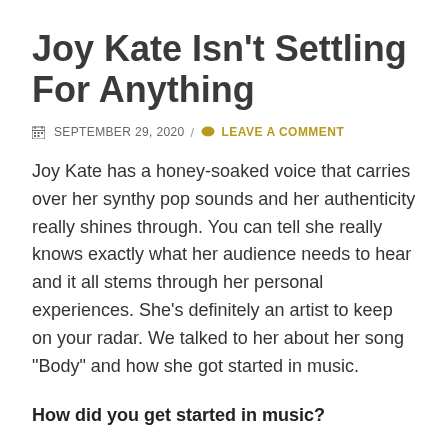Joy Kate Isn't Settling For Anything
SEPTEMBER 29, 2020  /  LEAVE A COMMENT
Joy Kate has a honey-soaked voice that carries over her synthy pop sounds and her authenticity really shines through. You can tell she really knows exactly what her audience needs to hear and it all stems through her personal experiences. She's definitely an artist to keep on your radar. We talked to her about her song "Body" and how she got started in music.
How did you get started in music?